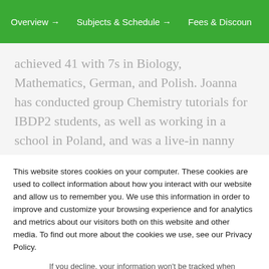Overview → Subjects & Schedule → Fees & Discoun
achieved 41 with 7s in Biology, Mathematics, German, and Polish. Joanna has conducted group Chemistry tutorials for IBDP2 students, as well as working in a school in Poland, and was a live-in nanny where she directed the children's Science
This website stores cookies on your computer. These cookies are used to collect information about how you interact with our website and allow us to remember you. We use this information in order to improve and customize your browsing experience and for analytics and metrics about our visitors both on this website and other media. To find out more about the cookies we use, see our Privacy Policy.
If you decline, your information won't be tracked when you visit this website. A single cookie will be used in your browser to remember your preference not to be tracked.
Accept
Decline